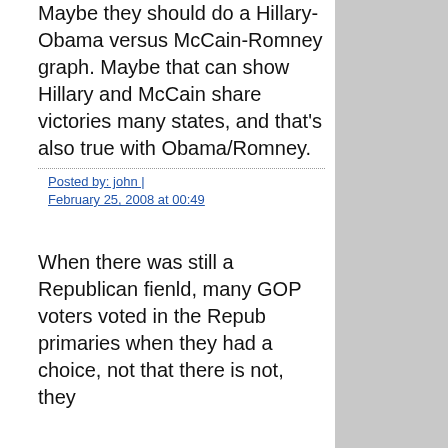Maybe they should do a Hillary-Obama versus McCain-Romney graph. Maybe that can show Hillary and McCain share victories many states, and that's also true with Obama/Romney.
Posted by: john | February 25, 2008 at 00:49
When there was still a Republican fienld, many GOP voters voted in the Repub primaries when they had a choice, not that there is not, they